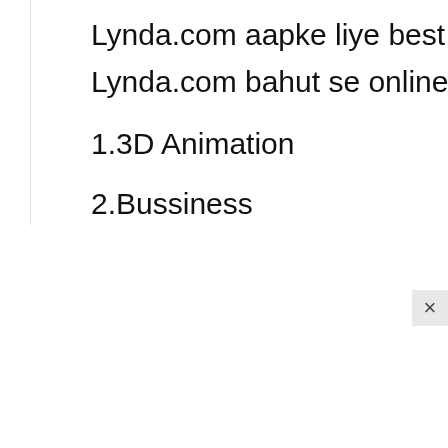Lynda.com aapke liye best place ho sakta hai. Linkedin company Lynda.com bahut se online learning courses offer karti hai.
1.3D Animation
2.Bussiness